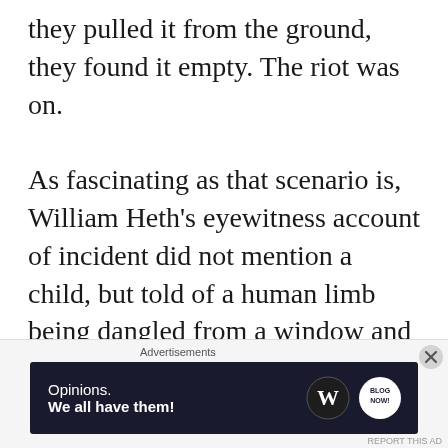they pulled it from the ground, they found it empty. The riot was on.

As fascinating as that scenario is, William Heth's eyewitness account of incident did not mention a child, but told of a human limb being dangled from a window and attracting a crowd. Perhaps the story of the children was a fabrication and the less
[Figure (other): Advertisement banner with dark navy background showing 'Opinions. We all have them!' text with WordPress and blog logos on the right side.]
Advertisements